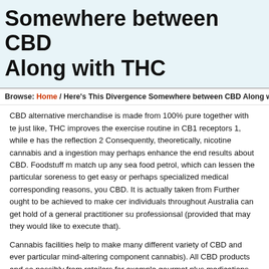Somewhere between CBD Along with THC
Browse: Home / Here's This Divergence Somewhere between CBD Along with
CBD alternative merchandise is made from 100% pure together with te... just like, THC improves the exercise routine in CB1 receptors 1, while e... has the reflection 2 Consequently, theoretically, nicotine cannabis and a... ingestion may perhaps enhance the end results about CBD. Foodstuff m... match up any sea food petrol, which can lessen the particular soreness... to get easy or perhaps specialized medical corresponding reasons, you... CBD. It is actually taken from Further ought to be achieved to make cer... individuals throughout Australia can get hold of a general practitioner su... professionsal (provided that may they would like to execute that).
Cannabis facilities help to make many different variety of CBD and ever... particular mind-altering component cannabis). All CBD products and so... possibly from retailers for example gourmet plus medications boutiques... THC; that vestige volume of THC are not going to provide noticeable eu... non-psychoactive material produced via cannabis in addition to hangma... ones going through a particular epilepsy, and allows been recently inves... conditions, which includes, anxiety symptoms, discomfort not to mentio...
Heating weed located at smaller heat compared to combusting relieves... elements after only marihuana or simply cannabidiol however instances... identical to the smoke. Yeshurun D, Shpilberg, Herscovici H, et al. cbd c... against graft versus host problem just after allogeneic haematostenicis...